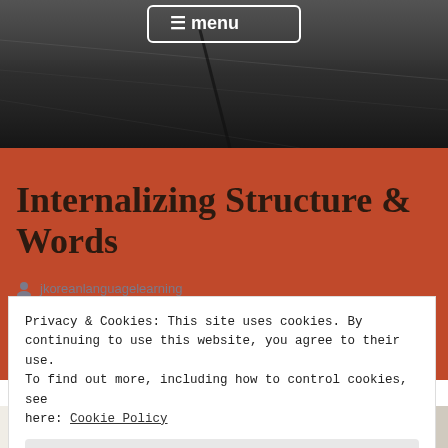[Figure (photo): Dark header background photo showing what appears to be a road or surface with a stick/branch, in dark grey/black tones. A menu button with hamburger icon and text 'menu' overlaid at top center.]
Internalizing Structure & Words
jkoreanlanguagelearning
Reinforcing & Internalizing Language
Privacy & Cookies: This site uses cookies. By continuing to use this website, you agree to their use. To find out more, including how to control cookies, see here: Cookie Policy
Close and accept
[Figure (photo): Partial view of a handwritten Korean text page at the bottom of the page, showing Korean characters.]